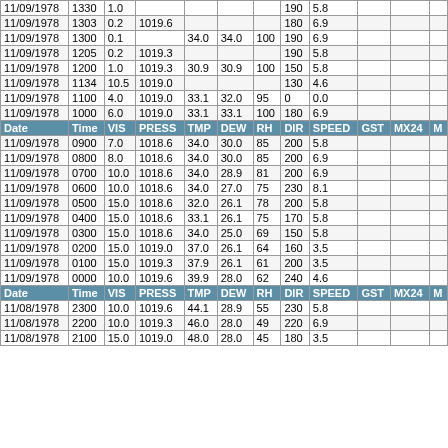| Date | Time | VIS | PRESS | TMP | DEW | RH | DIR | SPEED | GST | MX24 | M |
| --- | --- | --- | --- | --- | --- | --- | --- | --- | --- | --- | --- |
| 11/09/1978 | 1330 | 1.0 |  |  |  |  | 190 | 5.8 |  |  |  |
| 11/09/1978 | 1303 | 0.2 | 1019.6 |  |  |  | 180 | 6.9 |  |  |  |
| 11/09/1978 | 1300 | 0.1 |  | 34.0 | 34.0 | 100 | 190 | 6.9 |  |  |  |
| 11/09/1978 | 1205 | 0.2 | 1019.3 |  |  |  | 190 | 5.8 |  |  |  |
| 11/09/1978 | 1200 | 1.0 | 1019.3 | 30.9 | 30.9 | 100 | 150 | 5.8 |  |  |  |
| 11/09/1978 | 1134 | 10.5 | 1019.0 |  |  |  | 130 | 4.6 |  |  |  |
| 11/09/1978 | 1100 | 4.0 | 1019.0 | 33.1 | 32.0 | 95 | 0 | 0.0 |  |  |  |
| 11/09/1978 | 1000 | 6.0 | 1019.0 | 33.1 | 33.1 | 100 | 180 | 6.9 |  |  |  |
| Date | Time | VIS | PRESS | TMP | DEW | RH | DIR | SPEED | GST | MX24 | M |
| 11/09/1978 | 0900 | 7.0 | 1018.6 | 34.0 | 30.0 | 85 | 200 | 5.8 |  |  |  |
| 11/09/1978 | 0800 | 8.0 | 1018.6 | 34.0 | 30.0 | 85 | 200 | 6.9 |  |  |  |
| 11/09/1978 | 0700 | 10.0 | 1018.6 | 34.0 | 28.9 | 81 | 200 | 6.9 |  |  |  |
| 11/09/1978 | 0600 | 10.0 | 1018.6 | 34.0 | 27.0 | 75 | 230 | 8.1 |  |  |  |
| 11/09/1978 | 0500 | 15.0 | 1018.6 | 32.0 | 26.1 | 78 | 200 | 5.8 |  |  |  |
| 11/09/1978 | 0400 | 15.0 | 1018.6 | 33.1 | 26.1 | 75 | 170 | 5.8 |  |  |  |
| 11/09/1978 | 0300 | 15.0 | 1018.6 | 34.0 | 25.0 | 69 | 150 | 5.8 |  |  |  |
| 11/09/1978 | 0200 | 15.0 | 1019.0 | 37.0 | 26.1 | 64 | 160 | 3.5 |  |  |  |
| 11/09/1978 | 0100 | 15.0 | 1019.3 | 37.9 | 26.1 | 61 | 200 | 3.5 |  |  |  |
| 11/09/1978 | 0000 | 10.0 | 1019.6 | 39.9 | 28.0 | 62 | 240 | 4.6 |  |  |  |
| Date | Time | VIS | PRESS | TMP | DEW | RH | DIR | SPEED | GST | MX24 | M |
| 11/08/1978 | 2300 | 10.0 | 1019.6 | 44.1 | 28.9 | 55 | 230 | 5.8 |  |  |  |
| 11/08/1978 | 2200 | 10.0 | 1019.3 | 46.0 | 28.0 | 49 | 220 | 6.9 |  |  |  |
| 11/08/1978 | 2100 | 15.0 | 1019.0 | 48.0 | 28.0 | 45 | 180 | 3.5 |  |  |  |